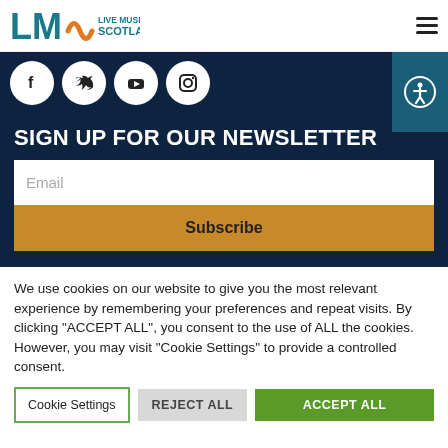Live Music Now Scotland
[Figure (logo): Live Music Now Scotland logo with L M wave graphic in teal and orange, text 'LIVE MUSIC NOW SCOTLAND']
[Figure (infographic): Social media icons: Facebook, Twitter, YouTube, Instagram circles on dark navy background with accessibility button on right]
SIGN UP FOR OUR NEWSLETTER
Email
Subscribe
We use cookies on our website to give you the most relevant experience by remembering your preferences and repeat visits. By clicking “ACCEPT ALL”, you consent to the use of ALL the cookies. However, you may visit “Cookie Settings” to provide a controlled consent.
Cookie Settings | REJECT ALL | ACCEPT ALL